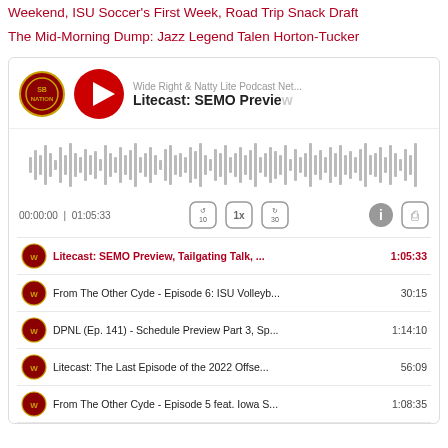Weekend, ISU Soccer's First Week, Road Trip Snack Draft
The Mid-Morning Dump: Jazz Legend Talen Horton-Tucker
[Figure (screenshot): Podcast player showing 'Litecast: SEMO Preview' episode from Wide Right & Natty Lite Podcast Network, with waveform, time 00:00:00 / 01:05:33, playback controls including skip back 10, 1x speed, skip forward 30, info and share buttons.]
Litecast: SEMO Preview, Tailgating Talk, ... 1:05:33
From The Other Cyde - Episode 6: ISU Volleyb... 30:15
DPNL (Ep. 141) - Schedule Preview Part 3, Sp... 1:14:10
Litecast: The Last Episode of the 2022 Offse... 56:09
From The Other Cyde - Episode 5 feat. Iowa S... 1:08:35